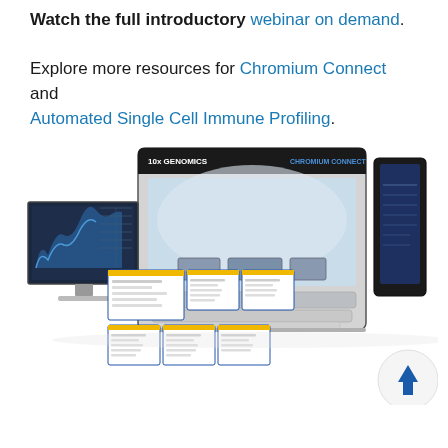Watch the full introductory webinar on demand. Explore more resources for Chromium Connect and Automated Single Cell Immune Profiling.
[Figure (photo): Product photo of the 10x Genomics Chromium Connect instrument — a large automated benchtop device with an open lid showing sample plates inside, flanked by a desktop monitor displaying analysis software on the left, a tablet on the right, and a set of document/protocol cards in front.]